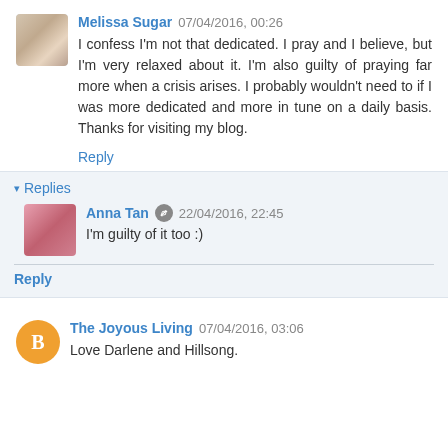Melissa Sugar 07/04/2016, 00:26
I confess I'm not that dedicated. I pray and I believe, but I'm very relaxed about it. I'm also guilty of praying far more when a crisis arises. I probably wouldn't need to if I was more dedicated and more in tune on a daily basis. Thanks for visiting my blog.
Reply
▾ Replies
Anna Tan 22/04/2016, 22:45
I'm guilty of it too :)
Reply
The Joyous Living 07/04/2016, 03:06
Love Darlene and Hillsong.